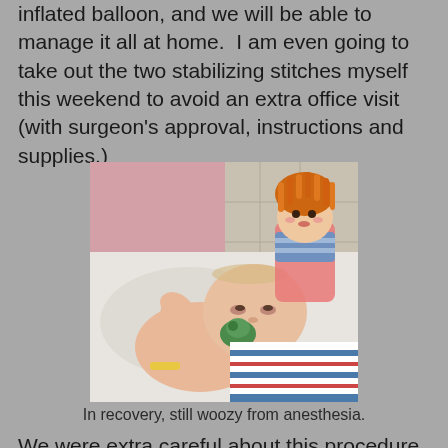inflated balloon, and we will be able to manage it all at home.  I am even going to take out the two stabilizing stitches myself this weekend to avoid an extra office visit (with surgeon's approval, instructions and supplies.)
[Figure (photo): A baby lying in a hospital recovery bed, sucking on a green toy/pacifier, with a colorful rag doll with orange yarn hair visible beside the baby. The baby appears groggy from anesthesia.]
In recovery, still woozy from anesthesia.
We were extra careful about this procedure, since the